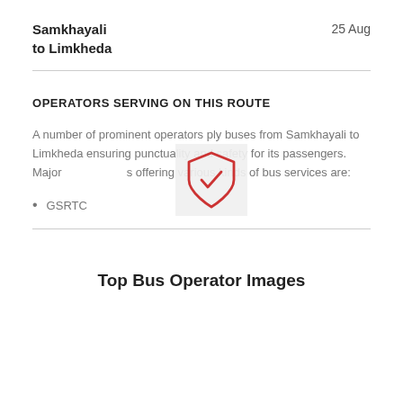Samkhayali to Limkheda
25 Aug
OPERATORS SERVING ON THIS ROUTE
A number of prominent operators ply buses from Samkhayali to Limkheda ensuring punctuality and safety for its passengers. Major operators offering various kinds of bus services are:
[Figure (illustration): Shield with checkmark icon in red outline, overlaid on the text]
GSRTC
Top Bus Operator Images